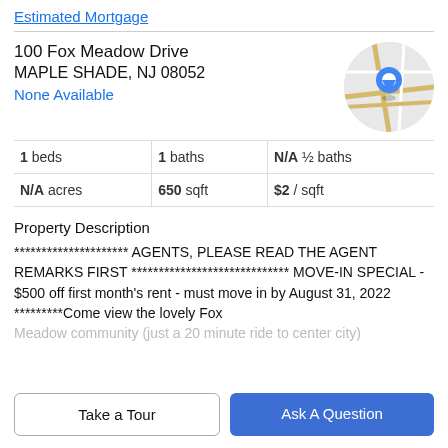Estimated Mortgage
100 Fox Meadow Drive
MAPLE SHADE, NJ 08052
None Available
[Figure (map): Circular map thumbnail showing a location pin on a street map]
| 1 beds | 1 baths | N/A ½ baths |
| N/A acres | 650 sqft | $2 / sqft |
Property Description
********************* AGENTS, PLEASE READ THE AGENT REMARKS FIRST ***************************** MOVE-IN SPECIAL - $500 off first month's rent - must move in by August 31, 2022 *********Come view the lovely Fox
Meadow community (just a 20 minute ride to center city)
Take a Tour
Ask A Question